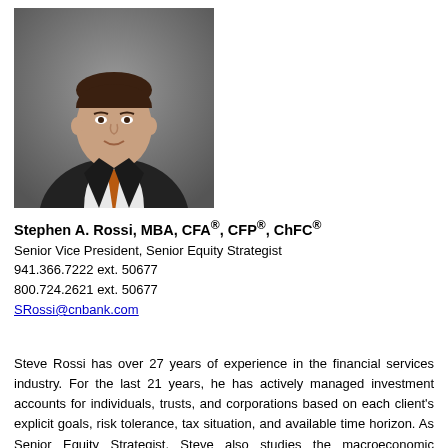[Figure (photo): Professional headshot of Stephen A. Rossi, a man in a dark suit with an orange tie, against a grey background.]
Stephen A. Rossi, MBA, CFA®, CFP®, ChFC®
Senior Vice President, Senior Equity Strategist
941.366.7222 ext. 50677
800.724.2621 ext. 50677
SRossi@cnbank.com
Steve Rossi has over 27 years of experience in the financial services industry. For the last 21 years, he has actively managed investment accounts for individuals, trusts, and corporations based on each client's explicit goals, risk tolerance, tax situation, and available time horizon. As Senior Equity Strategist, Steve also studies the macroeconomic environment and advises the Equity Team on asset allocation, sector positioning, and individual security selection.